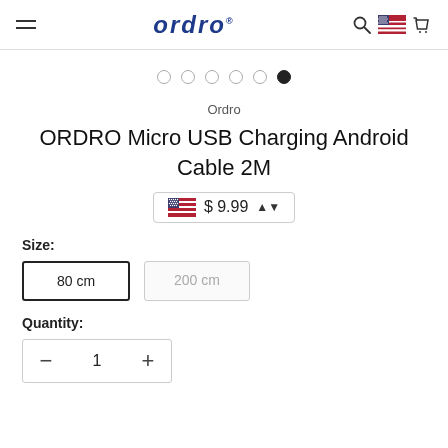ordro
[Figure (other): Carousel pagination dots (5 empty, 1 filled active dot)]
Ordro
ORDRO Micro USB Charging Android Cable 2M
$ 9.99
Size:
80 cm
200 cm
Quantity:
1